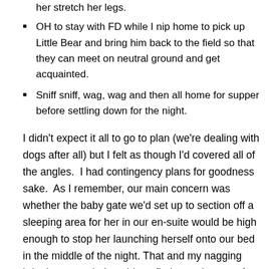Stop at the large field opposite the house on the way home to let her stretch her legs.
OH to stay with FD while I nip home to pick up Little Bear and bring him back to the field so that they can meet on neutral ground and get acquainted.
Sniff sniff, wag, wag and then all home for supper before settling down for the night.
I didn't expect it all to go to plan (we're dealing with dogs after all) but I felt as though I'd covered all of the angles.  I had contingency plans for goodness sake.  As I remember, our main concern was whether the baby gate we'd set up to section off a sleeping area for her in our en-suite would be high enough to stop her launching herself onto our bed in the middle of the night. That and my nagging irritation at not being able to find a car harness for her like the one LB has.  After a fruitless tour of pet shops and online stores I